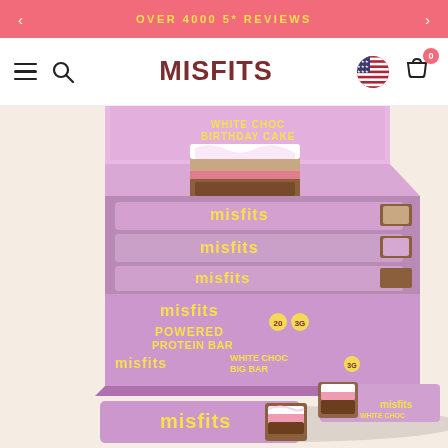OVER 4000 5* REVIEWS
[Figure (logo): MISFITS brand logo in dark red uppercase bold lettering, centered in navigation bar with hamburger menu and search icon on left, US flag and cart icon on right]
[Figure (photo): Open pink/lilac box of Misfits White Choc Birthday Cake protein bars displayed on a cream/beige background. The box lid is open showing the flavor name and an image of the bar. Multiple individually wrapped bars are visible inside the box in pink/purple packaging with yellow MISFITS branding. A single bar is also shown in front of the box.]